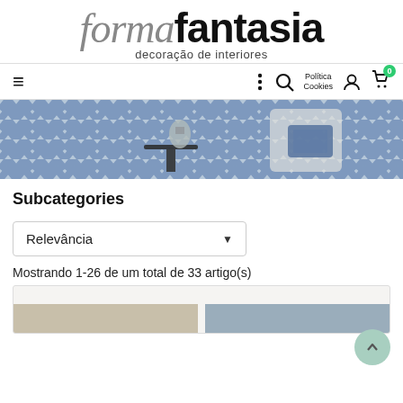[Figure (logo): formafantasia logo — 'forma' in italic gray, 'fantasia' in bold black, subtitle 'decoração de interiores']
≡  ⋮  🔍  Politica Cookies  👤  🛒 0
[Figure (photo): Hero banner showing a living room with blue and white chevron patterned wall panels, a white armchair with blue geometric cushion, and a small black side table with a silver vase.]
Subcategories
Relevância
Mostrando 1-26 de um total de 33 artigo(s)
[Figure (photo): Partial product listing area with two product thumbnail images at the bottom of the page.]